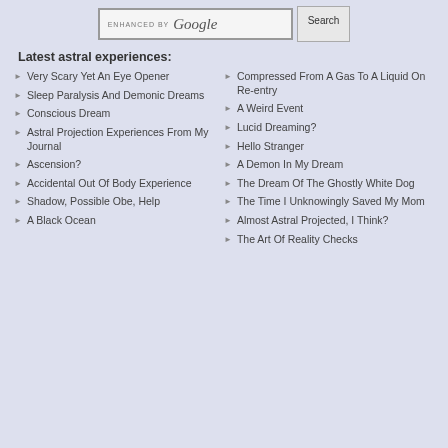[Figure (screenshot): Google search bar with 'ENHANCED BY Google' text and a Search button]
Latest astral experiences:
Very Scary Yet An Eye Opener
Sleep Paralysis And Demonic Dreams
Conscious Dream
Astral Projection Experiences From My Journal
Ascension?
Accidental Out Of Body Experience
Shadow, Possible Obe, Help
A Black Ocean
Compressed From A Gas To A Liquid On Re-entry
A Weird Event
Lucid Dreaming?
Hello Stranger
A Demon In My Dream
The Dream Of The Ghostly White Dog
The Time I Unknowingly Saved My Mom
Almost Astral Projected, I Think?
The Art Of Reality Checks